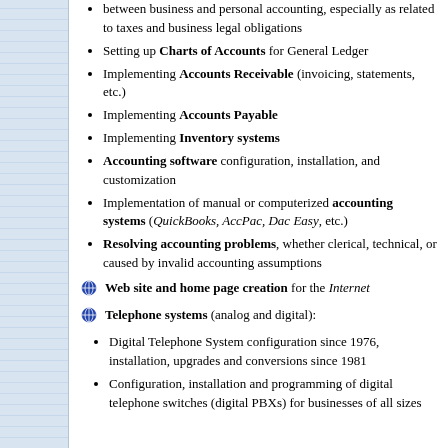between business and personal accounting, especially as related to taxes and business legal obligations
Setting up Charts of Accounts for General Ledger
Implementing Accounts Receivable (invoicing, statements, etc.)
Implementing Accounts Payable
Implementing Inventory systems
Accounting software configuration, installation, and customization
Implementation of manual or computerized accounting systems (QuickBooks, AccPac, Dac Easy, etc.)
Resolving accounting problems, whether clerical, technical, or caused by invalid accounting assumptions
Web site and home page creation for the Internet
Telephone systems (analog and digital):
Digital Telephone System configuration since 1976, installation, upgrades and conversions since 1981
Configuration, installation and programming of digital telephone switches (digital PBXs) for businesses of all sizes